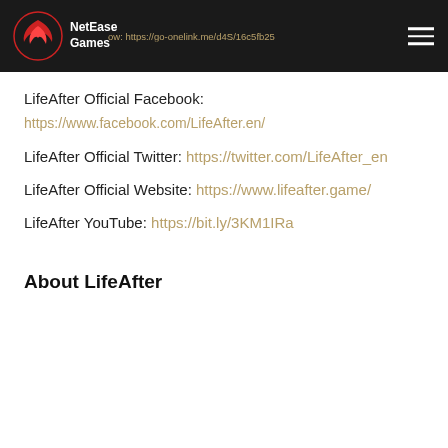NetEase Games — header with logo and navigation link https://go-onelink.me/d4S/16c5fb25
LifeAfter Official Facebook:
https://www.facebook.com/LifeAfter.en/
LifeAfter Official Twitter: https://twitter.com/LifeAfter_en
LifeAfter Official Website: https://www.lifeafter.game/
LifeAfter YouTube: https://bit.ly/3KM1IRa
About LifeAfter